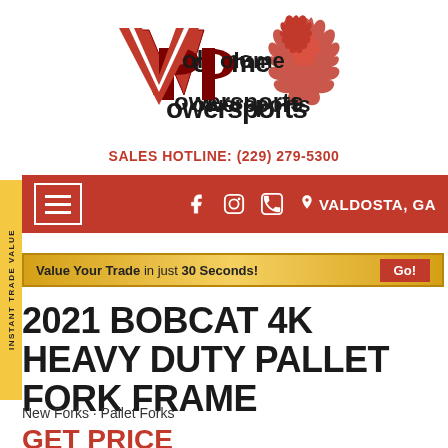[Figure (logo): Volume Powersports logo with red stylized VP letters and flame graphic, text reads 'Volume Powersports']
SALES HOTLINE: (229) 279-5300
[Figure (screenshot): Red navigation bar with hamburger menu icon on left, social media icons (Facebook, Instagram, phone), and location text 'VALDOSTA, GA' on right]
INSTANT TRADE VALUE
[Figure (infographic): Gold gradient banner reading 'Value Your Trade in just 30 Seconds!' with red 'Go!' button on right]
2021 BOBCAT 4K HEAVY DUTY PALLET FORK FRAME
New Forks · Pallet Forks
GET PRICE